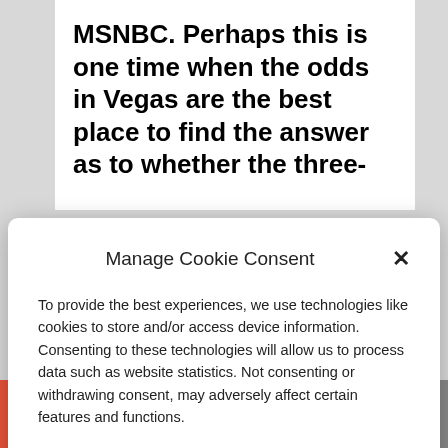MSNBC. Perhaps this is one time when the odds in Vegas are the best place to find the answer as to whether the three-
Manage Cookie Consent
To provide the best experiences, we use technologies like cookies to store and/or access device information. Consenting to these technologies will allow us to process data such as website statistics. Not consenting or withdrawing consent, may adversely affect certain features and functions.
Accept
Cookie Policy  Privacy Policy
endorsement. Click here.
[Figure (infographic): Social share bar with five buttons: add (+), Facebook (f), Twitter bird), share (chain links), and email (envelope icon)]